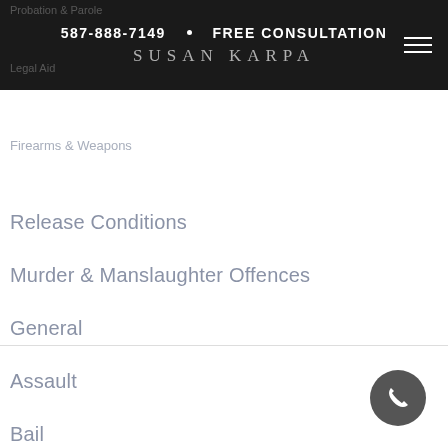587-888-7149  •  FREE CONSULTATION
SUSAN KARPA
Release Conditions
Murder & Manslaughter Offences
General
Assault
Bail
Domestic Abuse